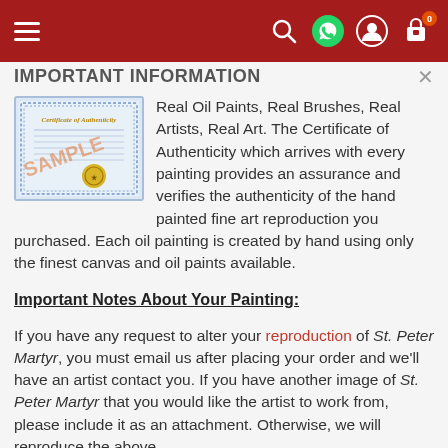Navigation bar with hamburger menu, search, WhatsApp, account, and cart icons (0 items)
IMPORTANT INFORMATION
[Figure (illustration): Sample Certificate of Authenticity with blue decorative border, gold seal, and 'SAMPLE' watermark text in orange]
Real Oil Paints, Real Brushes, Real Artists, Real Art. The Certificate of Authenticity which arrives with every painting provides an assurance and verifies the authenticity of the hand painted fine art reproduction you purchased. Each oil painting is created by hand using only the finest canvas and oil paints available.
Important Notes About Your Painting:
If you have any request to alter your reproduction of St. Peter Martyr, you must email us after placing your order and we'll have an artist contact you. If you have another image of St. Peter Martyr that you would like the artist to work from, please include it as an attachment. Otherwise, we will reproduce the above